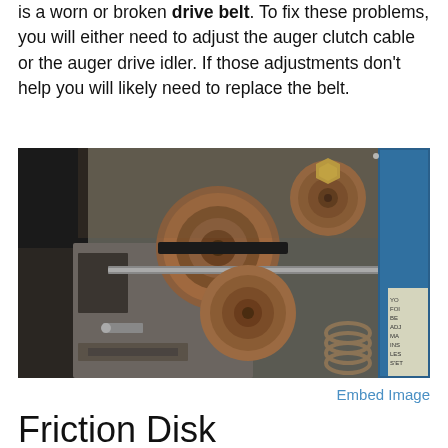is a worn or broken drive belt. To fix these problems, you will either need to adjust the auger clutch cable or the auger drive idler. If those adjustments don't help you will likely need to replace the belt.
[Figure (photo): Close-up photograph of snowblower auger drive mechanism showing metal pulleys, belts, springs, and a blue motor housing with partial warning label visible on the right side.]
Embed Image
Friction Disk